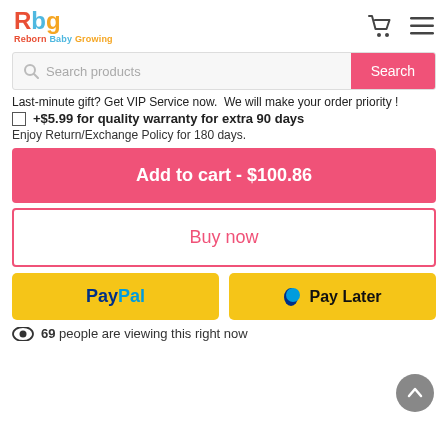[Figure (logo): Reborn Baby Growing logo with colorful Rbg letters and tagline]
Search products
Last-minute gift? Get VIP Service now. We will make your order priority !
+$5.99 for quality warranty for extra 90 days
Enjoy Return/Exchange Policy for 180 days.
Add to cart - $100.86
Buy now
[Figure (logo): PayPal button in yellow]
[Figure (logo): Pay Later button in yellow]
69 people are viewing this right now